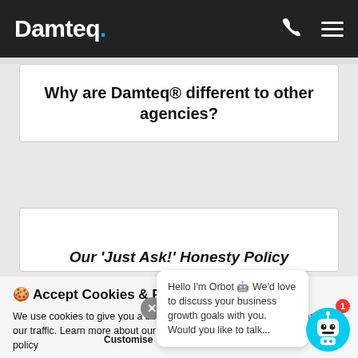Damteq.
Why are Damteq® different to other agencies?
Our 'Just Ask!' Honesty Policy
🍪 Accept Cookies & Privacy Policy?
We use cookies to give you a better browsing experience and to analyse our traffic. Learn more about our use of your data in our privacy & cookie policy
Hello I'm Orbot 🤖 We'd love to discuss your business growth goals with you. Would you like to talk...
Customise